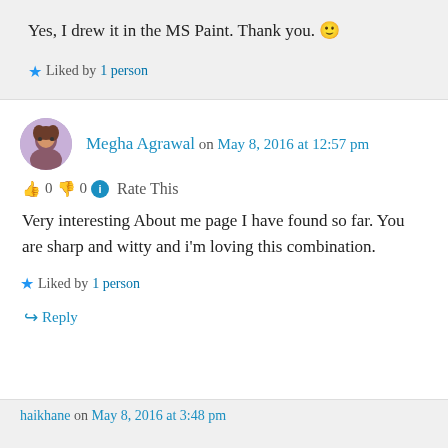Yes, I drew it in the MS Paint. Thank you. 🙂
★ Liked by 1 person
Megha Agrawal on May 8, 2016 at 12:57 pm
👍 0 👎 0 ℹ Rate This
Very interesting About me page I have found so far. You are sharp and witty and i'm loving this combination.
★ Liked by 1 person
↪ Reply
haikhane on May 8, 2016 at 3:48 pm